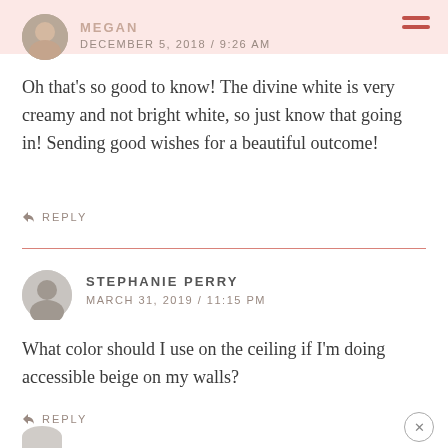MEGAN
DECEMBER 5, 2018 / 9:26 AM
Oh that’s so good to know! The divine white is very creamy and not bright white, so just know that going in! Sending good wishes for a beautiful outcome!
REPLY
STEPHANIE PERRY
MARCH 31, 2019 / 11:15 PM
What color should I use on the ceiling if I’m doing accessible beige on my walls?
REPLY